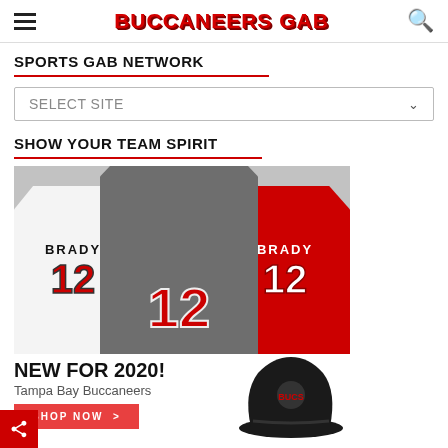BUCCANEERS GAB
SPORTS GAB NETWORK
SELECT SITE
SHOW YOUR TEAM SPIRIT
[Figure (photo): Three Brady #12 Buccaneers jerseys (white, grey, red) displayed side by side, with a black Buccaneers cap below right. Text: NEW FOR 2020! Tampa Bay Buccaneers. SHOP NOW button.]
NEW FOR 2020!
Tampa Bay Buccaneers
SHOP NOW >